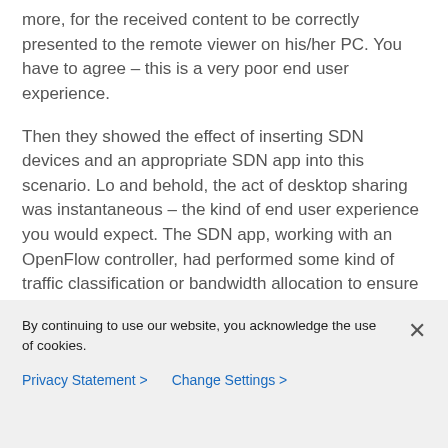more, for the received content to be correctly presented to the remote viewer on his/her PC. You have to agree – this is a very poor end user experience.
Then they showed the effect of inserting SDN devices and an appropriate SDN app into this scenario. Lo and behold, the act of desktop sharing was instantaneous – the kind of end user experience you would expect. The SDN app, working with an OpenFlow controller, had performed some kind of traffic classification or bandwidth allocation to ensure that the Microsoft
By continuing to use our website, you acknowledge the use of cookies.
Privacy Statement > Change Settings >